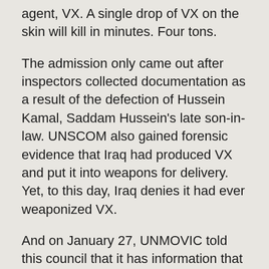agent, VX. A single drop of VX on the skin will kill in minutes. Four tons.
The admission only came out after inspectors collected documentation as a result of the defection of Hussein Kamal, Saddam Hussein's late son-in-law. UNSCOM also gained forensic evidence that Iraq had produced VX and put it into weapons for delivery. Yet, to this day, Iraq denies it had ever weaponized VX.
And on January 27, UNMOVIC told this council that it has information that conflicts with the Iraqi account of its VX program.
We know that Iraq has embedded key portions of its illicit chemical weapons infrastructure within its legitimate civilian industry. To all outward appearances, even to experts, the infrastructure looks like an ordinary civilian operation. Illicit and